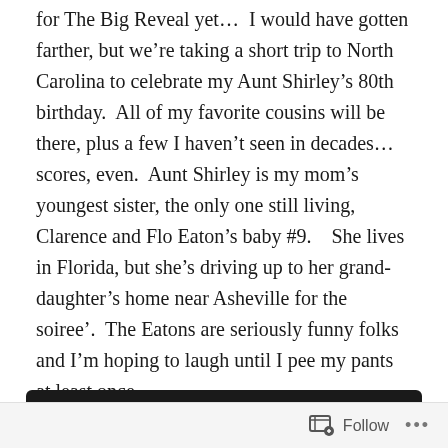for The Big Reveal yet…  I would have gotten farther, but we're taking a short trip to North Carolina to celebrate my Aunt Shirley's 80th birthday.  All of my favorite cousins will be there, plus a few I haven't seen in decades…scores, even.  Aunt Shirley is my mom's youngest sister, the only one still living,  Clarence and Flo Eaton's baby #9.    She lives in Florida, but she's driving up to her grand-daughter's home near Asheville for the soiree'.  The Eatons are seriously funny folks and I'm hoping to laugh until I pee my pants at least once.
In the meantime, here's what I've been up to…
Follow ···